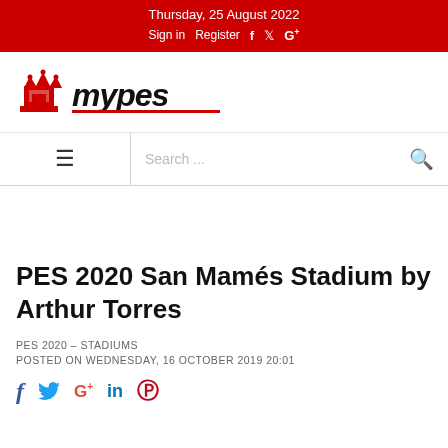Thursday, 25 August 2022 | Sign in | Register
[Figure (logo): MyPES website logo with red chess piece icon and MYPES text in bold black italic]
PES 2020 San Mamés Stadium by Arthur Torres
PES 2020 – STADIUMS
POSTED ON WEDNESDAY, 16 OCTOBER 2019 20:01